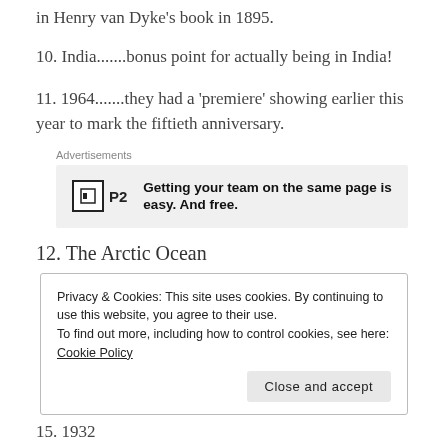in Henry van Dyke's book in 1895.
10. India.......bonus point for actually being in India!
11. 1964.......they had a 'premiere' showing earlier this year to mark the fiftieth anniversary.
[Figure (other): Advertisement for P2 - 'Getting your team on the same page is easy. And free.']
12. The Arctic Ocean
Privacy & Cookies: This site uses cookies. By continuing to use this website, you agree to their use.
To find out more, including how to control cookies, see here: Cookie Policy
15. 1932